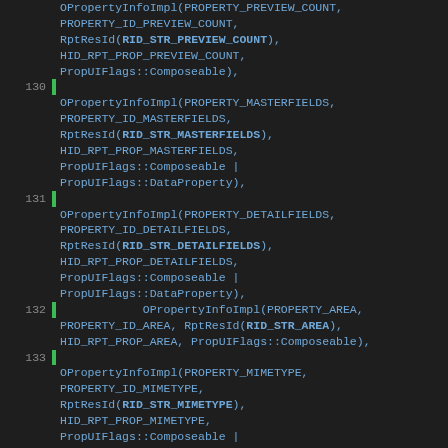Source code listing showing OPropertyInfoImpl calls for PROPERTY_PREVIEW_COUNT, PROPERTY_MASTERFIELDS, PROPERTY_DETAILFIELDS, PROPERTY_AREA, PROPERTY_MIMETYPE, and PROPERTY_PARAADJUST with lines 130-134